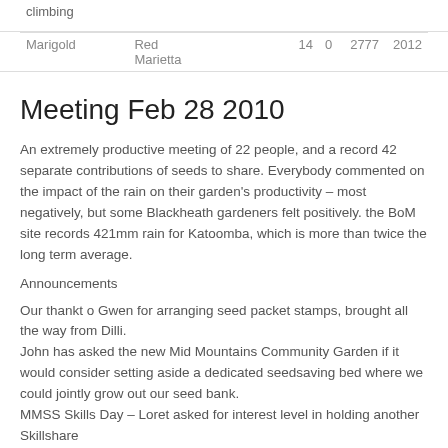| climbing |  |  |  |  |
| Marigold | Red
Marietta | 14 | 0 | 2777 | 2012 |
Meeting Feb 28 2010
An extremely productive meeting of 22 people, and a record 42 separate contributions of seeds to share. Everybody commented on the impact of the rain on their garden's productivity – most negatively, but some Blackheath gardeners felt positively. the BoM site records 421mm rain for Katoomba, which is more than twice the long term average.
Announcements
Our thankt o Gwen for arranging seed packet stamps, brought all the way from Dilli.
John has asked the new Mid Mountains Community Garden if it would consider setting aside a dedicated seedsaving bed where we could jointly grow out our seed bank.
MMSS Skills Day – Loret asked for interest level in holding another Skillshare